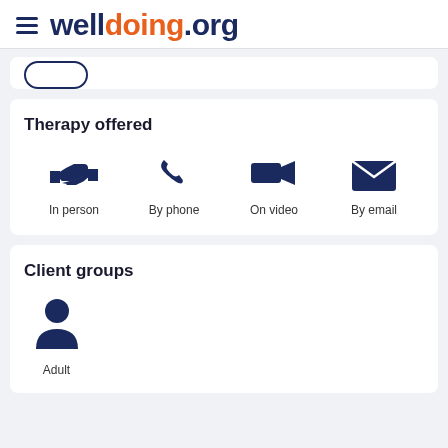welldoing.org
Therapy offered
[Figure (infographic): Four therapy mode icons: In person (handshake), By phone (telephone receiver), On video (video camera), By email (envelope)]
Client groups
[Figure (infographic): Adult client group icon: person silhouette with label Adult]